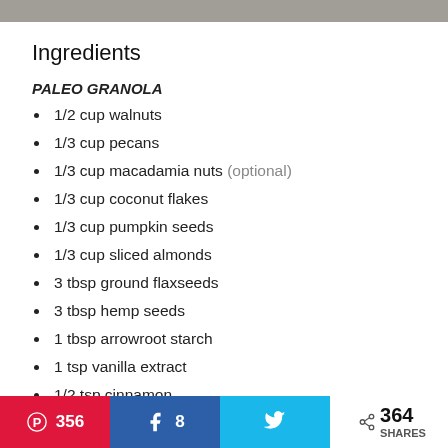Ingredients
PALEO GRANOLA
1/2 cup walnuts
1/3 cup pecans
1/3 cup macadamia nuts (optional)
1/3 cup coconut flakes
1/3 cup pumpkin seeds
1/3 cup sliced almonds
3 tbsp ground flaxseeds
3 tbsp hemp seeds
1 tbsp arrowroot starch
1 tsp vanilla extract
1/2 tsp cinnamon
356  8  364 SHARES